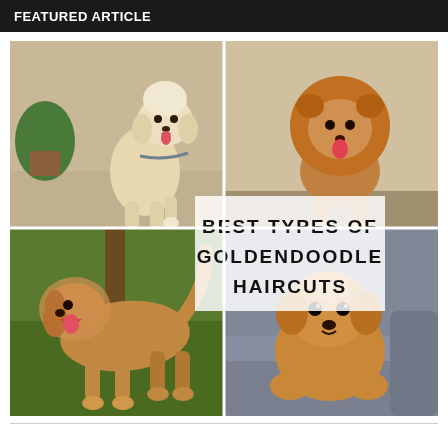FEATURED ARTICLE
[Figure (photo): Collage of four goldendoodle dogs with various haircuts, overlaid with bold text reading BEST TYPES OF GOLDENDOODLE HAIRCUTS. Top-left: white/cream poodle-cut dog sitting outdoors. Top-right: golden dog with lion-cut mane. Bottom-left: apricot goldendoodle standing on grass. Bottom-right: fluffy puppy goldendoodle on a couch.]